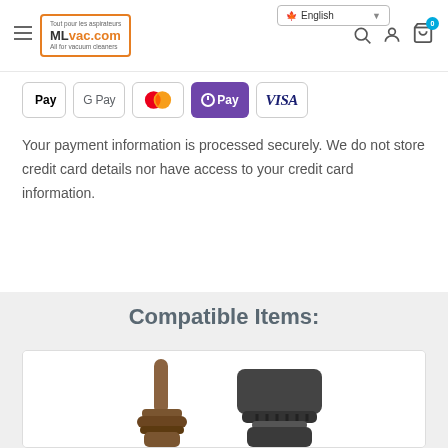MLvac.com — All for vacuum cleaners | English | Search | Account | Cart (0)
[Figure (other): Payment method icons: Apple Pay, Google Pay, Mastercard, OPay, VISA]
Your payment information is processed securely. We do not store credit card details nor have access to your credit card information.
Compatible Items:
[Figure (photo): Product image showing vacuum cleaner attachments/accessories on white background]